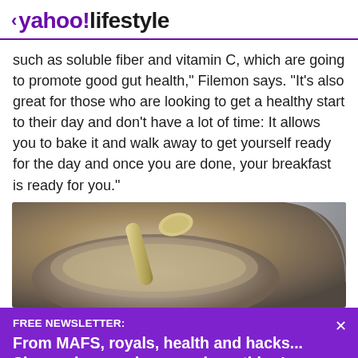< yahoo!lifestyle
such as soluble fiber and vitamin C, which are going to promote good gut health," Filemon says. "It's also great for those who are looking to get a healthy start to their day and don't have a lot of time: It allows you to bake it and walk away to get yourself ready for the day and once you are done, your breakfast is ready for you."
[Figure (photo): Close-up photo of a bowl with a spoon, suggesting an oatmeal or porridge breakfast dish.]
FREE NEWSLETTER:
From MAFS, royals, health and hacks... Sign up here and never miss a thing!
View comments